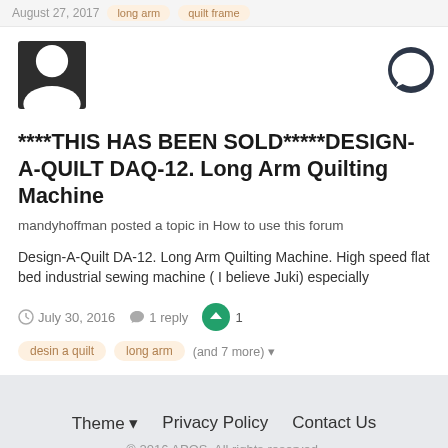August 27, 2017  long arm  quilt frame
[Figure (illustration): Default user avatar (dark square with white silhouette person icon)]
[Figure (illustration): Dark circular comment/chat icon button]
****THIS HAS BEEN SOLD*****DESIGN-A-QUILT DAQ-12. Long Arm Quilting Machine
mandyhoffman posted a topic in How to use this forum
Design-A-Quilt DA-12. Long Arm Quilting Machine. High speed flat bed industrial sewing machine ( I believe Juki) especially
July 30, 2016   1 reply   1
desin a quilt   long arm   (and 7 more)
Theme  Privacy Policy  Contact Us
© 2016 APQS. All rights reserved.
Powered by Invision Community